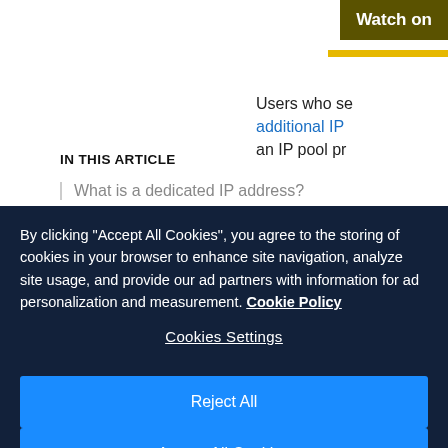Watch on
Users who se additional IP an IP pool pr
IN THIS ARTICLE
What is a dedicated IP address?
By clicking "Accept All Cookies", you agree to the storing of cookies in your browser to enhance site navigation, analyze site usage, and provide our ad partners with information for ad personalization and measurement. Cookie Policy
Cookies Settings
Reject All
Accept All Cookies